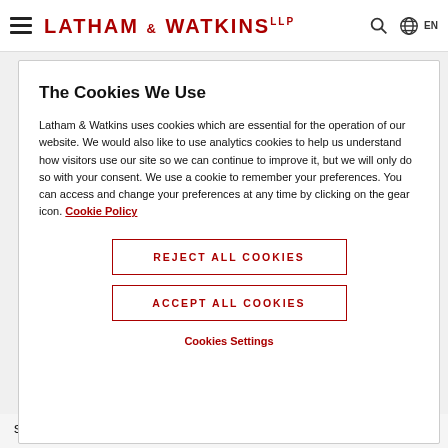LATHAM & WATKINS LLP
The Cookies We Use
Latham & Watkins uses cookies which are essential for the operation of our website. We would also like to use analytics cookies to help us understand how visitors use our site so we can continue to improve it, but we will only do so with your consent. We use a cookie to remember your preferences. You can access and change your preferences at any time by clicking on the gear icon. Cookie Policy
REJECT ALL COOKIES
ACCEPT ALL COOKIES
Cookies Settings
season.